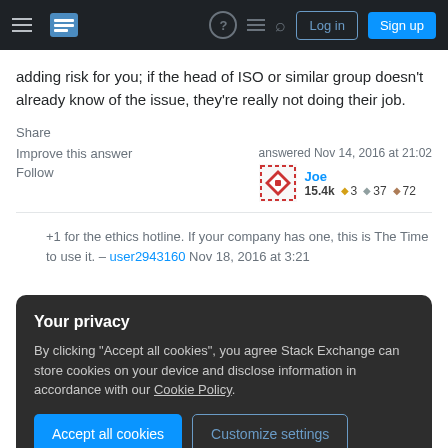Stack Exchange navigation bar with hamburger menu, logo, help, feedback, search icons, Log in and Sign up buttons
adding risk for you; if the head of ISO or similar group doesn't already know of the issue, they're really not doing their job.
Share
Improve this answer
Follow
answered Nov 14, 2016 at 21:02
Joe 15.4k ◆3 ◇37 ◆72
+1 for the ethics hotline. If your company has one, this is The Time to use it. – user2943160 Nov 18, 2016 at 3:21
Your privacy
By clicking "Accept all cookies", you agree Stack Exchange can store cookies on your device and disclose information in accordance with our Cookie Policy.
Accept all cookies   Customize settings
recognition as a security validation, but doesn't